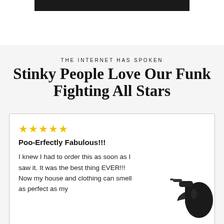[Figure (photo): Dark banner/bar at the top of the page, black rectangle on white background]
THE INTERNET HAS SPOKEN
Stinky People Love Our Funk Fighting All Stars
★★★★★
Poo-Erfectly Fabulous!!!
I knew I had to order this as soon as I saw it. It was the best thing EVER!!! Now my house and clothing can smell as perfect as my
[Figure (photo): Black spray bottle visible in the bottom right corner of the review card]